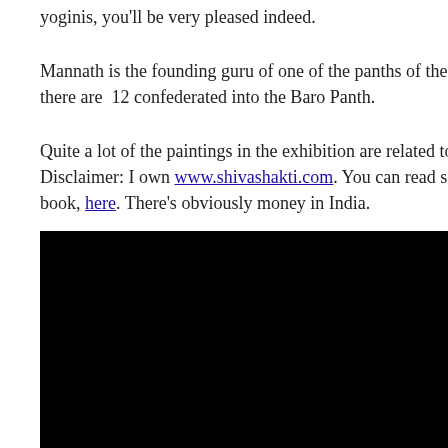yoginis, you'll be very pleased indeed.
Mannath is the founding guru of one of the panths of the current Natha Sampradaya – there are  12 confederated into the Baro Panth.
Quite a lot of the paintings in the exhibition are related to the Siddha Siddhanta Paddhati. Disclaimer: I own www.shivashakti.com. You can read some Natha texts in this PDF book, here. There's obviously money in India.
[Figure (photo): A large black rectangular image, likely a photograph or embedded video/image that is not rendering, shown below the text paragraphs.]